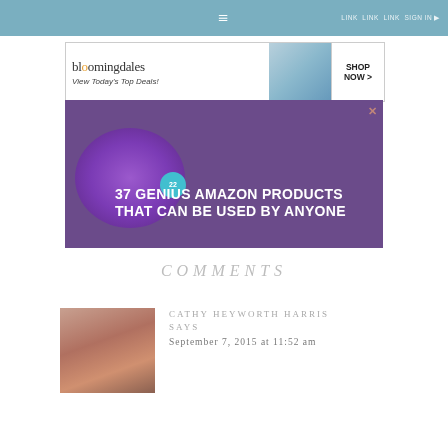≡
[Figure (screenshot): Bloomingdale's advertisement: 'View Today's Top Deals!' with SHOP NOW > button and model wearing hat]
[Figure (screenshot): Amazon advertisement: '37 GENIUS AMAZON PRODUCTS THAT CAN BE USED BY ANYONE' with purple headphones and badge showing 22]
COMMENTS
[Figure (photo): Profile photo of Cathy Heyworth Harris, a woman with red/auburn hair]
CATHY HEYWORTH HARRIS SAYS
September 7, 2015 at 11:52 am